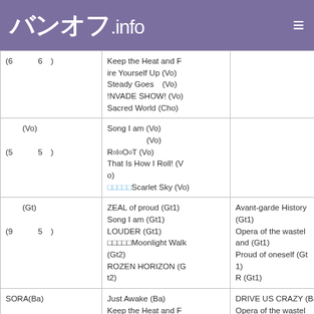バンオフ.info
|  |  |  |
| --- | --- | --- |
| (6　　　6　) | Keep the Heat and Fire Yourself Up (Vo)
Steady Goes　(Vo)
!NVADE SHOW! (Vo)
Sacred World (Cho) |  |
| 　(Vo)

(5　　　5　) | Song I am (Vo)
　　　　　(Vo)
RоIоOоT (Vo)
That Is How I Roll! (Vo)
□□□□□Scarlet Sky (Vo) |  |
| 　(Gt)

(9　　　5　) | ZEAL of proud (Gt1)
Song I am (Gt1)
LOUDER (Gt1)
□□□□□Moonlight Walk (Gt2)
ROZEN HORIZON (Gt2) | Avant-garde History (Gt1)
Opera of the wastel and (Gt1)
Proud of oneself (Gt1)
R (Gt1) |
| SORA(Ba) | Just Awake (Ba)
Keep the Heat and Fire Yourself Up (Ba) | DRIVE US CRAZY (Ba)
Opera of the wastel and (Ba) |